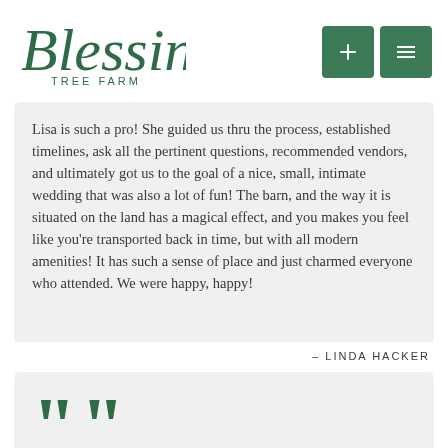[Figure (logo): Blessing Tree Farm logo in green italic script with navigation buttons (+ and menu icons) in green squares]
Lisa is such a pro! She guided us thru the process, established timelines, ask all the pertinent questions, recommended vendors, and ultimately got us to the goal of a nice, small, intimate wedding that was also a lot of fun! The barn, and the way it is situated on the land has a magical effect, and you makes you feel like you're transported back in time, but with all modern amenities! It has such a sense of place and just charmed everyone who attended. We were happy, happy!
– LINDA HACKER
[Figure (illustration): Large green opening quotation marks at start of second testimonial block]